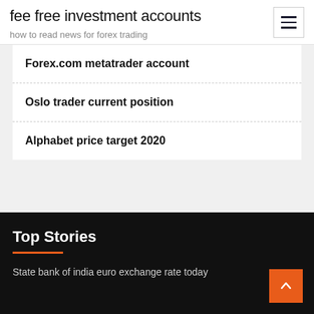fee free investment accounts
how to read news for forex trading
Forex.com metatrader account
Oslo trader current position
Alphabet price target 2020
Top Stories
State bank of india euro exchange rate today